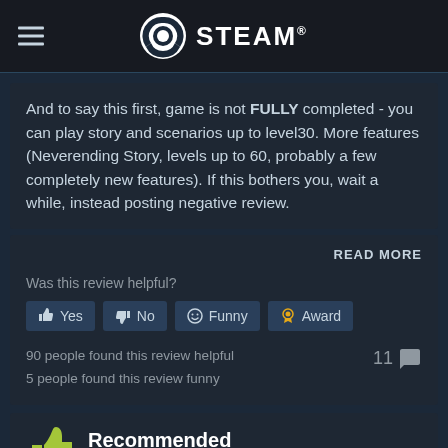STEAM
And to say this first, game is not FULLY completed - you can play story and scenarios up to level30. More features (Neverending Story, levels up to 60, probably a few completely new features). If this bothers you, wait a while, instead posting negative review.
READ MORE
Was this review helpful?
Yes  No  Funny  Award
90 people found this review helpful
5 people found this review funny
11
Recommended
269.8 hrs on record (222.1 hrs at review time)